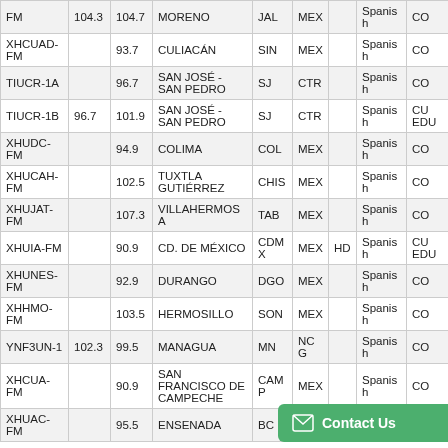| Call Sign | Freq 1 | Freq 2 | City | St | Ctry | HD | Language | Format |
| --- | --- | --- | --- | --- | --- | --- | --- | --- |
| FM | 104.3 | 104.7 | MORENO | JAL | MEX |  | Spanish | CO... |
| XHCUAD-FM |  | 93.7 | CULIACÁN | SIN | MEX |  | Spanish | CO... |
| TIUCR-1A |  | 96.7 | SAN JOSÉ - SAN PEDRO | SJ | CTR |  | Spanish | CO... |
| TIUCR-1B | 96.7 | 101.9 | SAN JOSÉ - SAN PEDRO | SJ | CTR |  | Spanish | CU... EDU... |
| XHUDC-FM |  | 94.9 | COLIMA | COL | MEX |  | Spanish | CO... |
| XHUCAH-FM |  | 102.5 | TUXTLA GUTIÉRREZ | CHIS | MEX |  | Spanish | CO... |
| XHUJAT-FM |  | 107.3 | VILLAHERMOSA | TAB | MEX |  | Spanish | CO... |
| XHUIA-FM |  | 90.9 | CD. DE MÉXICO | CDMX | MEX | HD | Spanish | CU... EDU... |
| XHUNES-FM |  | 92.9 | DURANGO | DGO | MEX |  | Spanish | CO... |
| XHHMO-FM |  | 103.5 | HERMOSILLO | SON | MEX |  | Spanish | CO... |
| YNF3UN-1 | 102.3 | 99.5 | MANAGUA | MN | NCG |  | Spanish | CO... |
| XHCUA-FM |  | 90.9 | SAN FRANCISCO DE CAMPECHE | CAMP | MEX |  | Spanish | CO... |
| XHUAC-FM |  | 95.5 | ENSENADA | BC |  |  |  | CO... |